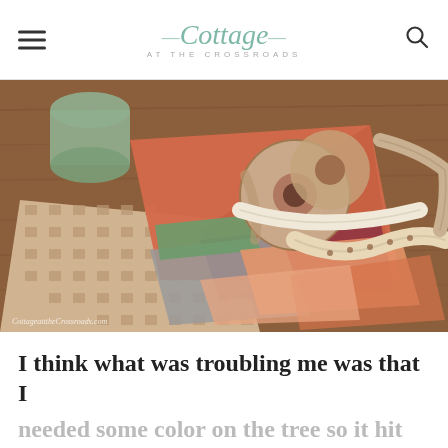Cottage at the Crossroads
[Figure (photo): A collection of fabric scraps and ribbon spools on a wooden surface. Includes tan/beige gingham fabric, coral/orange fabric pieces, gray fabric, green fabric, and a spool of ribbon with gingerbread man print. Watermark reads 'CottageatttheCrossroads.com']
I think what was troubling me was that I needed some color on the tree so it hit